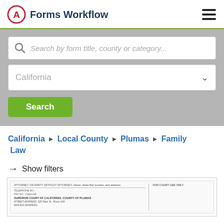Forms Workflow
Search by form title, county or category...
California
Search
California › Local County › Plumas › Family Law
→ Show filters
[Figure (screenshot): A partially visible legal court form from Superior Court of California, County of Plumas, related to Family Law.]